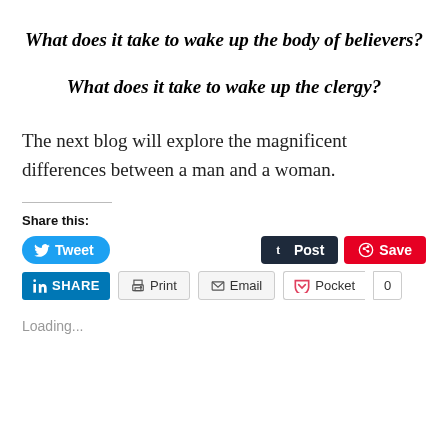What does it take to wake up the body of believers?
What does it take to wake up the clergy?
The next blog will explore the magnificent differences between a man and a woman.
Share this:
Loading...